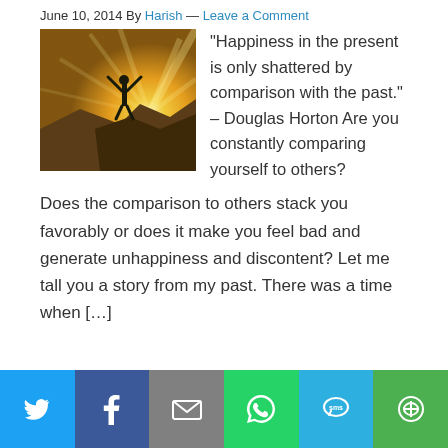June 10, 2014 By Harish — Leave a Comment
[Figure (photo): Silhouette of a person standing on a rock with arms raised against a golden sunlit sky]
“Happiness in the present is only shattered by comparison with the past.” – Douglas Horton Are you constantly comparing yourself to others? Does the comparison to others stack you favorably or does it make you feel bad and generate unhappiness and discontent? Let me tall you a story from my past. There was a time when […]